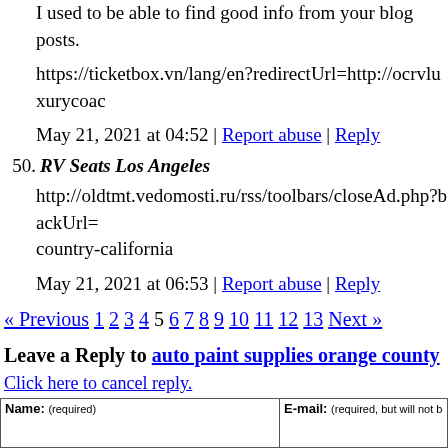I used to be able to find good info from your blog posts.
https://ticketbox.vn/lang/en?redirectUrl=http://ocrvluxurycoac…
May 21, 2021 at 04:52 | Report abuse | Reply
50. RV Seats Los Angeles
http://oldtmt.vedomosti.ru/rss/toolbars/closeAd.php?backUrl=… country-california
May 21, 2021 at 06:53 | Report abuse | Reply
« Previous 1 2 3 4 5 6 7 8 9 10 11 12 13 Next »
Leave a Reply to auto paint supplies orange county
Click here to cancel reply.
| Name: (required) | E-mail: (required, but will not… |
| --- | --- |
|  |  |